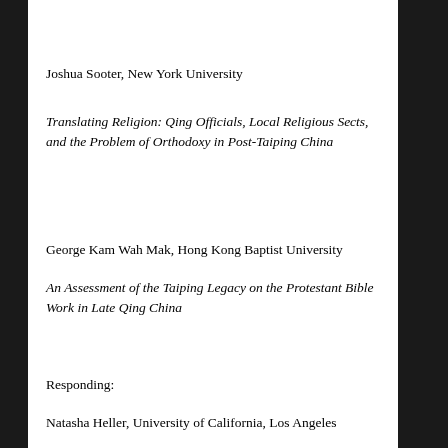Joshua Sooter, New York University
Translating Religion: Qing Officials, Local Religious Sects, and the Problem of Orthodoxy in Post-Taiping China
George Kam Wah Mak, Hong Kong Baptist University
An Assessment of the Taiping Legacy on the Protestant Bible Work in Late Qing China
Responding:
Natasha Heller, University of California, Los Angeles